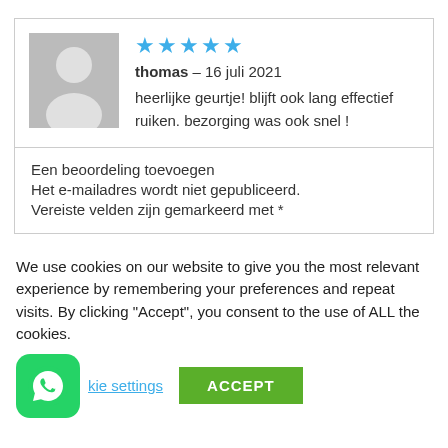[Figure (illustration): User avatar placeholder (grey silhouette of a person)]
★★★★★
thomas – 16 juli 2021
heerlijke geurtje! blijft ook lang effectief ruiken. bezorging was ook snel !
Een beoordeling toevoegen
Het e-mailadres wordt niet gepubliceerd.
Vereiste velden zijn gemarkeerd met *
We use cookies on our website to give you the most relevant experience by remembering your preferences and repeat visits. By clicking "Accept", you consent to the use of ALL the cookies.
[Figure (logo): WhatsApp green logo button]
kie settings
ACCEPT